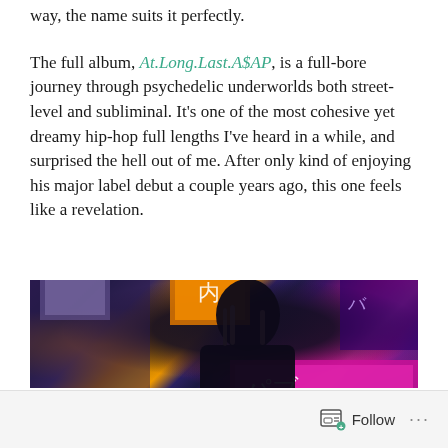way, the name suits it perfectly.
The full album, At.Long.Last.A$AP, is a full-bore journey through psychedelic underworlds both street-level and subliminal. It's one of the most cohesive yet dreamy hip-hop full lengths I've heard in a while, and surprised the hell out of me. After only kind of enjoying his major label debut a couple years ago, this one feels like a revelation.
[Figure (photo): A person looking up at neon signs in what appears to be a city street at night, with colorful illuminated signs in the background including orange, pink/magenta Japanese text signs.]
Follow ...